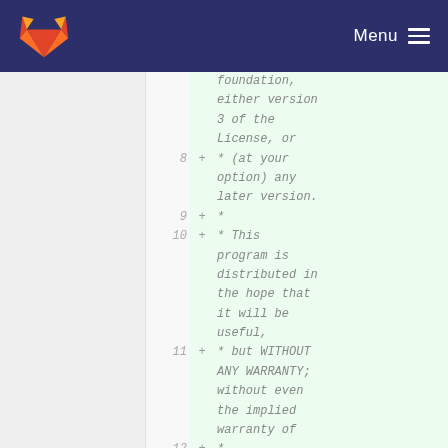GitLab | Menu
* foundation, either version 3 of the License, or
8 + * (at your option) any later version.
9 + *
10 + * This program is distributed in the hope that it will be useful,
11 + * but WITHOUT ANY WARRANTY; without even the implied warranty of
12 + * MERCHANTABILITY